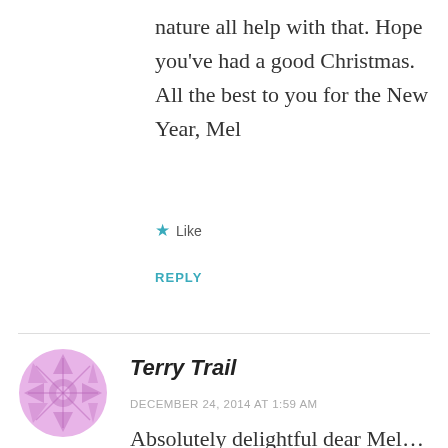nature all help with that. Hope you've had a good Christmas. All the best to you for the New Year, Mel
★ Like
REPLY
[Figure (illustration): Purple circular avatar icon with geometric snowflake-like pattern for user Terry Trail]
Terry Trail
DECEMBER 24, 2014 AT 1:59 AM
Absolutely delightful dear Mel... My